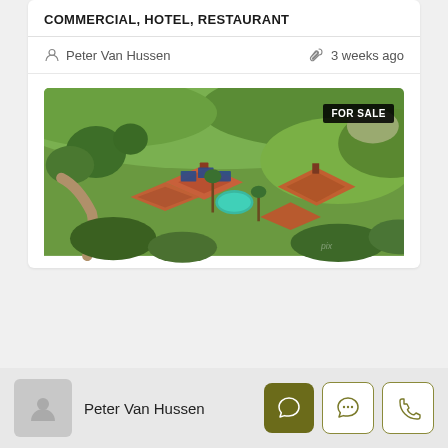COMMERCIAL, HOTEL, RESTAURANT
Peter Van Hussen   3 weeks ago
[Figure (photo): Aerial drone photo of a hotel/restaurant property with multiple red-roofed buildings, solar panels, a pool, and lush tropical/green hillside surroundings. A 'FOR SALE' badge appears in the top right.]
Peter Van Hussen